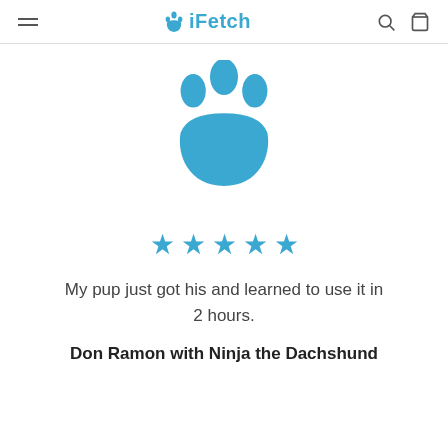iFetch
[Figure (illustration): Large blue paw print icon centered on the page]
[Figure (infographic): Five blue star rating icons in a row]
My pup just got his and learned to use it in 2 hours.
Don Ramon with Ninja the Dachshund